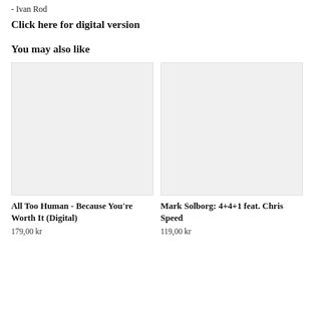- Ivan Rod
Click here for digital version
You may also like
[Figure (other): Placeholder image for All Too Human - Because You're Worth It (Digital)]
All Too Human - Because You're Worth It (Digital)
179,00 kr
[Figure (other): Placeholder image for Mark Solborg: 4+4+1 feat. Chris Speed]
Mark Solborg: 4+4+1 feat. Chris Speed
119,00 kr